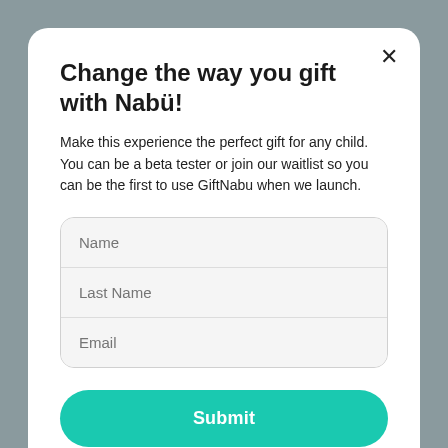Change the way you gift with Nabü!
Make this experience the perfect gift for any child. You can be a beta tester or join our waitlist so you can be the first to use GiftNabu when we launch.
[Figure (other): Sign-up form with fields for Name, Last Name, and Email, and a teal Submit button]